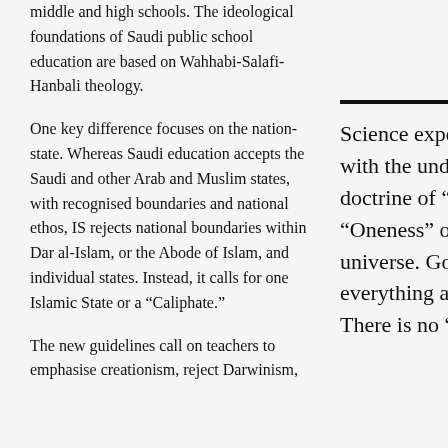middle and high schools. The ideological foundations of Saudi public school education are based on Wahhabi-Salafi-Hanbali theology.
One key difference focuses on the nation-state. Whereas Saudi education accepts the Saudi and other Arab and Muslim states, with recognised boundaries and national ethos, IS rejects national boundaries within Dar al-Islam, or the Abode of Islam, and individual states. Instead, it calls for one Islamic State or a “Caliphate.”
The new guidelines call on teachers to emphasise creationism, reject Darwinism,
Science experiments are allowed with the understanding that the doctrine of “Tawheed” or “Oneness” of God permeates the universe. God created everything and every creature. There is no “Big